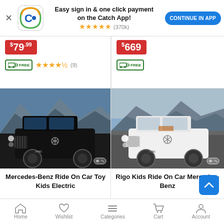[Figure (screenshot): Catch app banner with logo, star rating (370k reviews), and Continue in App button]
[Figure (screenshot): Top partial product cell left: price badge $79.99, free delivery icon, 4.5 star rating (9 reviews)]
[Figure (screenshot): Top partial product cell right: price badge $669, free delivery icon]
[Figure (photo): Black Mercedes-Benz AMG G63 ride-on electric toy car for kids, viewed from front-left angle, mountain background]
Mercedes-Benz Ride On Car Toy Kids Electric
[Figure (photo): White Mercedes-Benz AMG G63 ride-on electric toy car for kids, viewed from front-left angle, mountain background]
Rigo Kids Ride On Car Mercedes-Benz
Home  Wishlist  Categories  Cart  Account